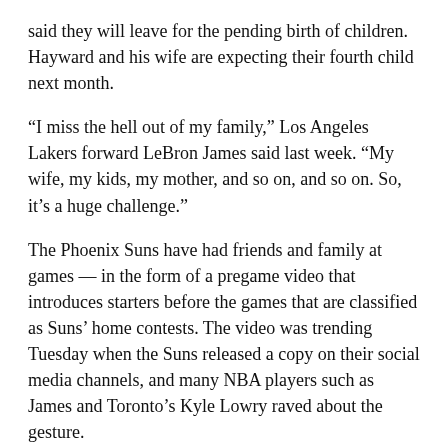said they will leave for the pending birth of children. Hayward and his wife are expecting their fourth child next month.
“I miss the hell out of my family,” Los Angeles Lakers forward LeBron James said last week. “My wife, my kids, my mother, and so on, and so on. So, it’s a huge challenge.”
The Phoenix Suns have had friends and family at games — in the form of a pregame video that introduces starters before the games that are classified as Suns’ home contests. The video was trending Tuesday when the Suns released a copy on their social media channels, and many NBA players such as James and Toronto’s Kyle Lowry raved about the gesture.
“We say family a lot… surprise to all of us… families organize that kind of intro. It’s unique.”
[Figure (other): Red media player bar with play button, volume icon, red dot, and WINN LIVE label, with a black bar below reading OPEN IN NEW WINDOW]